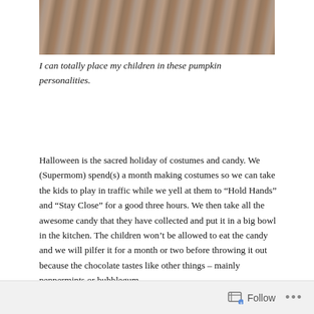[Figure (photo): Partial photo showing a wooden surface with brown wood grain texture]
I can totally place my children in these pumpkin personalities.
Halloween is the sacred holiday of costumes and candy. We (Supermom) spend(s) a month making costumes so we can take the kids to play in traffic while we yell at them to “Hold Hands” and “Stay Close” for a good three hours. We then take all the awesome candy that they have collected and put it in a big bowl in the kitchen. The children won’t be allowed to eat the candy and we will pilfer it for a month or two before throwing it out because the chocolate tastes like other things – mainly peppermints or bubblegum.
We try to let the children enjoy the spoils of war but rarely is Halloween on a weekend night so by the time we get home, letting the kids get jacked up on Reese’s and Sweet Tarts is a bad idea. Each day afterwards they ask for their candy and we give them a few pieces but not much because it is never actually convenient to have
Follow •••